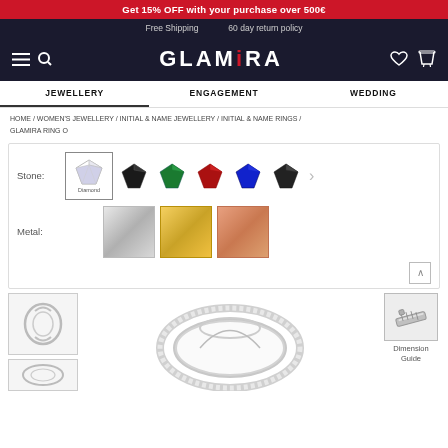Get 15% OFF with your purchase over 500€
Free Shipping   60 day return policy
GLAMIRA
JEWELLERY   ENGAGEMENT   WEDDING
HOME / WOMEN'S JEWELLERY / INITIAL & NAME JEWELLERY / INITIAL & NAME RINGS / GLAMIRA RING O
[Figure (screenshot): Product options panel showing Stone selector with Diamond selected and various gem colors, and Metal selector with silver, gold, rose gold swatches]
[Figure (photo): Thumbnail of a silver ring with oval O initial design]
[Figure (photo): Main product image of silver ring with diamond details]
[Figure (illustration): Dimension Guide icon with ruler/tape measure symbol and label]